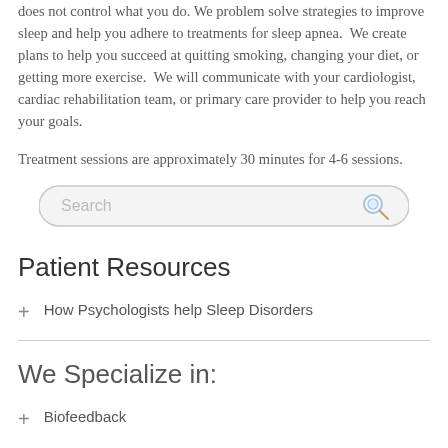does not control what you do. We problem solve strategies to improve sleep and help you adhere to treatments for sleep apnea.  We create plans to help you succeed at quitting smoking, changing your diet, or getting more exercise.  We will communicate with your cardiologist, cardiac rehabilitation team, or primary care provider to help you reach your goals.
Treatment sessions are approximately 30 minutes for 4-6 sessions.
[Figure (other): Search bar with placeholder text 'Search' and a magnifying glass icon]
Patient Resources
How Psychologists help Sleep Disorders
We Specialize in:
Biofeedback